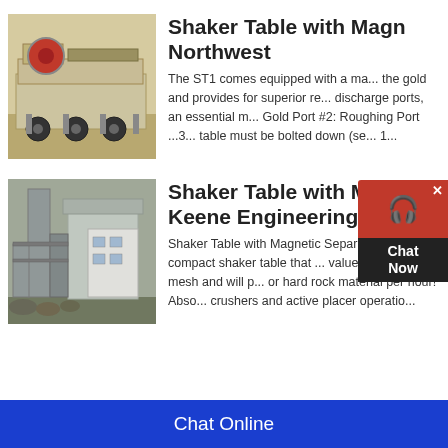[Figure (photo): Mining equipment - shaker table with magnetic separator on a trailer, yellow/beige colored industrial machinery with red drum, outdoors]
Shaker Table with Magn... Northwest
The ST1 comes equipped with a ma... the gold and provides for superior re... discharge ports, an essential m... Gold Port #2: Roughing Port ...3... table must be bolted down (se... 1...
[Figure (photo): Industrial plant building - Shaker Table with Magnetic Separator from Keene Engineering Online, gray industrial buildings with tower and silos]
Shaker Table with Magn... Keene Engineering Onli...
Shaker Table with Magnetic Separa... This is a compact shaker table that ... values down to 500 mesh and will p... or hard rock material per hour! Abso... crushers and active placer operatio...
Chat Online